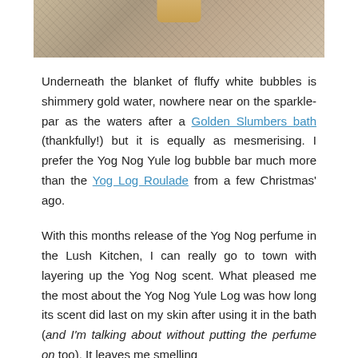[Figure (photo): Partial photo of a textured gold/brown bubblewrap-like surface with a golden object at top, cropped at top of page]
Underneath the blanket of fluffy white bubbles is shimmery gold water, nowhere near on the sparkle-par as the waters after a Golden Slumbers bath (thankfully!) but it is equally as mesmerising. I prefer the Yog Nog Yule log bubble bar much more than the Yog Log Roulade from a few Christmas' ago.
With this months release of the Yog Nog perfume in the Lush Kitchen, I can really go to town with layering up the Yog Nog scent. What pleased me the most about the Yog Nog Yule Log was how long its scent did last on my skin after using it in the bath (and I'm talking about without putting the perfume on too). It leaves me smelling